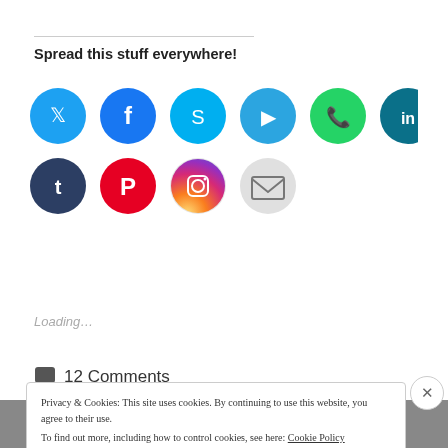Spread this stuff everywhere!
[Figure (infographic): Row of social media sharing icons: Twitter (blue), Facebook (dark blue), Skype (cyan), Telegram (blue), WhatsApp (green), LinkedIn (teal), Tumblr (dark navy), Pinterest (red), Instagram (gradient), Email (light gray), Reddit (light blue), Pocket (red), Print (light gray)]
Loading...
12 Comments
Privacy & Cookies: This site uses cookies. By continuing to use this website, you agree to their use. To find out more, including how to control cookies, see here: Cookie Policy
Close and accept